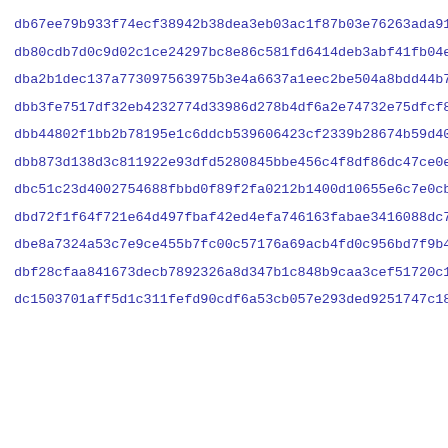db67ee79b933f74ecf38942b38dea3eb03ac1f87b03e76263ada918ae99d7
db80cdb7d0c9d02c1ce24297bc8e86c581fd6414deb3abf41fb04e5fc6fb5
dba2b1dec137a773097563975b3e4a6637a1eec2be504a8bdd44b7303c33a
dbb3fe7517df32eb4232774d33986d278b4df6a2e74732e75dfcf84e266fe
dbb44802f1bb2b78195e1c6ddcb539606423cf2339b28674b59d40e7d40fc
dbb873d138d3c811922e93dfd5280845bbe456c4f8df86dc47ce0e81953e5
dbc51c23d4002754688fbbd0f89f2fa0212b1400d10655e6c7e0cbd370184
dbd72f1f64f721e64d497fbaf42ed4efa746163fabae3416088dc751205060
dbe8a7324a53c7e9ce455b7fc00c57176a69acb4fd0c956bd7f9b41893d31
dbf28cfaa841673decb7892326a8d347b1c848b9caa3cef51720c1fa983a5
dc1503701aff5d1c311fefd90cdf6a53cb057e293ded9251747c18bd44cd9